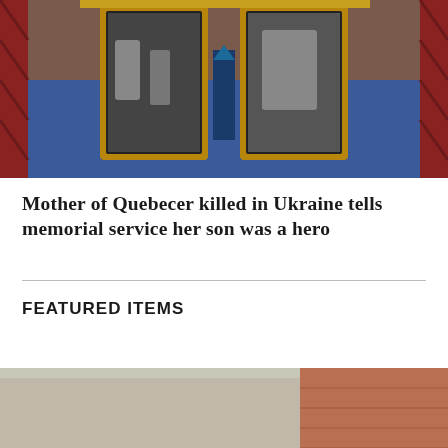[Figure (photo): Photo of framed pictures (appears to be a memorial) on a decorative stand with blue patterned fabric and red and gold decorative elements]
Mother of Quebecer killed in Ukraine tells memorial service her son was a hero
FEATURED ITEMS
[Figure (photo): Photo of a New York City subway entrance with green railings, a 'Subway' sign, 'USA TODAY' newspaper box, and people on the street. A 'Made in New York' movie poster is visible in the background.]